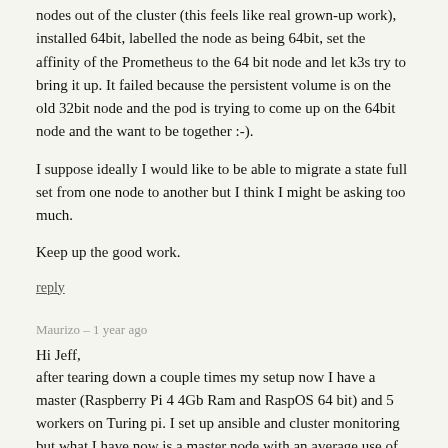nodes out of the cluster (this feels like real grown-up work), installed 64bit, labelled the node as being 64bit, set the affinity of the Prometheus to the 64 bit node and let k3s try to bring it up. It failed because the persistent volume is on the old 32bit node and the pod is trying to come up on the 64bit node and the want to be together :-).
I suppose ideally I would like to be able to migrate a state full set from one node to another but I think I might be asking too much.
Keep up the good work.
reply
Maurizo – 1 year ago
Hi Jeff,
after tearing down a couple times my setup now I have a master (Raspberry Pi 4 4Gb Ram and RaspOS 64 bit) and 5 workers on Turing pi. I set up ansible and cluster monitoring but what I have now is a master node with an average use of the cpus at 80% with load average : 10.17 9.43 9.59 that seams to me a lot for monitoring almost nothing.
Is it normal or do I have to investigate ...... and where?
TIA and keep going!